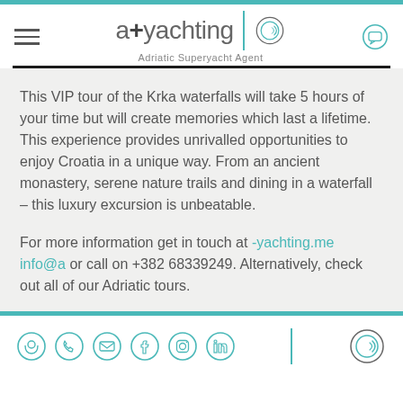[Figure (logo): a+yachting Adriatic Superyacht Agent logo with circular wave icon, hamburger menu on left, chat icon on right]
This VIP tour of the Krka waterfalls will take 5 hours of your time but will create memories which last a lifetime. This experience provides unrivalled opportunities to enjoy Croatia in a unique way. From an ancient monastery, serene nature trails and dining in a waterfall – this luxury excursion is unbeatable.
For more information get in touch at -yachting.me info@a or call on +382 68339249. Alternatively, check out all of our Adriatic tours.
[Figure (logo): Footer with social media icons: location, phone, email, Facebook, Instagram, LinkedIn, and circular wave logo]